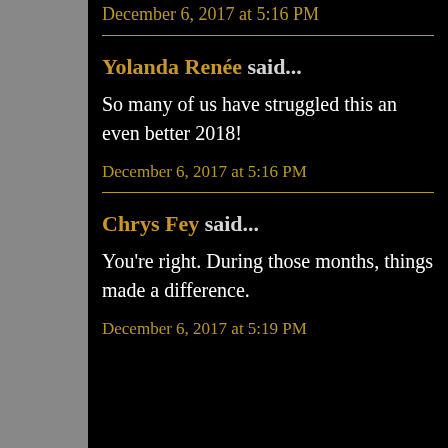December 6, 2017 at 5:16 PM
Yolanda Renée said...
So many of us have struggled this an even better 2018!
December 6, 2017 at 5:16 PM
Chrys Fey said...
You're right. During those months, things made a difference.
December 6, 2017 at 5:19 PM